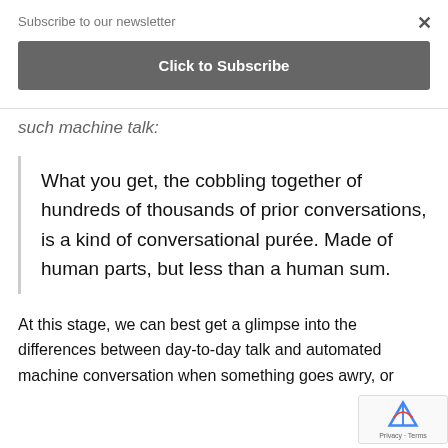Subscribe to our newsletter
Click to Subscribe
such machine talk:
What you get, the cobbling together of hundreds of thousands of prior conversations, is a kind of conversational purée. Made of human parts, but less than a human sum.
At this stage, we can best get a glimpse into the differences between day-to-day talk and automated machine conversation when something goes awry, or